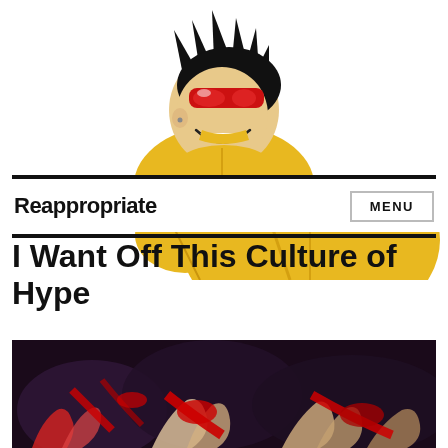[Figure (illustration): Comic book style illustration of a smiling Asian male character with spiky black hair, red visor/goggles, and yellow costume, shown from the shoulders up facing right with a grin.]
Reappropriate
MENU
I Want Off This Culture of Hype
[Figure (photo): Dark, graphic photograph showing multiple hands covered in blood against a dark background.]